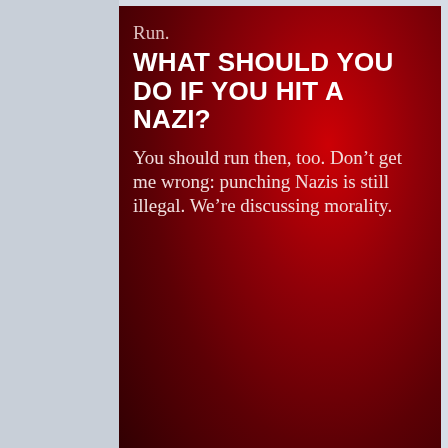[Figure (screenshot): Dark red background image with text: 'Run.' at top, then large bold white heading 'WHAT SHOULD YOU DO IF YOU HIT A NAZI?', then serif body text 'You should run then, too. Don't get me wrong: punching Nazis is still illegal. We're discussing morality.']
Posted by Cal's Canadian Cave of Coolness at 9:44 PM
2 comments:
Debra She Who Seeks said... "What if you think you're punching a Nazi, but you just hit a white guy with a shitty haircut?" HAHAHAHAHA
June 29, 2020 at 5:10 AM
Cal's Canadian Cave of Coolness said... Hey, shit happens.